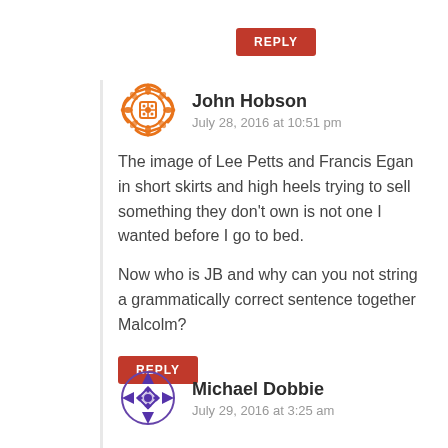REPLY
John Hobson
July 28, 2016 at 10:51 pm
The image of Lee Petts and Francis Egan in short skirts and high heels trying to sell something they don’t own is not one I wanted before I go to bed.
Now who is JB and why can you not string a grammatically correct sentence together Malcolm?
REPLY
Michael Dobbie
July 29, 2016 at 3:25 am